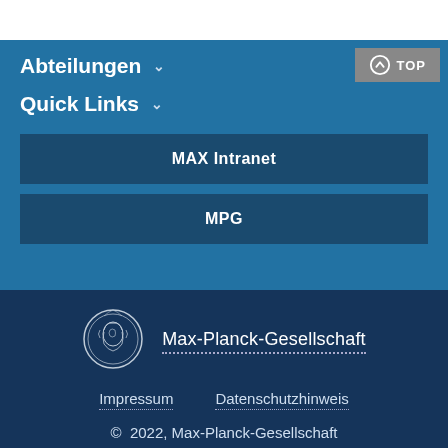Abteilungen
Quick Links
MAX Intranet
MPG
[Figure (logo): Max-Planck-Gesellschaft circular medallion logo with woman profile]
Max-Planck-Gesellschaft
Impressum
Datenschutzhinweis
© 2022, Max-Planck-Gesellschaft